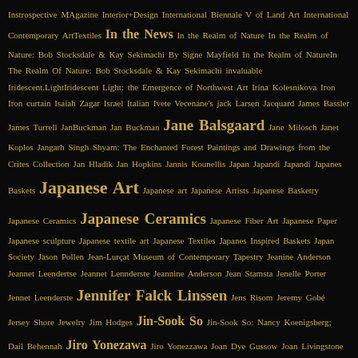Instrospective MAgazine Interior+Design International Biennale V of Land Art International Contemporary ArtTextiles In the News In the Realm of Nature In the Realm of Nature: Bob Stocksdale & Kay Sekimachi By Signe Mayfield In the Realm of NatureIn The Realm Of Nature: Bob Stocksdale & Kay Sekimachi invaluable Iridescent.LightIridescent Light: the Emergence of Northwest Art Irina Kolesnikova Iron Iron curtain Isaiah Zagar Israel Italian Ivete Vecenáne's jack Larsen Jacquard James Bassler James Turrell JanBuckman Jan Buckman Jane Balsgaard Jane Milosch Janet Koplos Jangarh Singh Shyam: The Enchanted Forest Paintings and Drawings from the Crites Collection Jan Hladik Jan Hopkins Jannis Kounellis Japan Japandi Japandi Japanes Baskets Japanese Art Japanese art Japanese Artists Japanese Basketry Japanese Ceramics Japanese Ceramics Japanese Fiber Art Japanese Paper Japanese sculpture Japanese textile art Japanese Textiles Japanes Inspired Baskets Japan Society Jason Pollen Jean-Lurçat Museum of Contemporary Tapestry Jeanine Anderson Jeannet Leendertse Jeannet Lennderste Jeannine Anderson Jean Stamsta Jenelle Porter Jennet Leenderste Jennifer Falck Linssen Jens Risom Jeremy Gobé Jersey Shore Jewelry Jim Hodges Jin-Sook So Jin-Sook So: Nancy Koenigsberg; Dail Behennah Jiro Yonezawa Jiro Yonezzawa Joan Dye Gussow Joan Livingstone Jo Ann C. Stabb Joan Simon Jo Barker Joe Cunningham Joe Hogan John C. Lavine John Cardin John Cooper John F. Cooper John Garrett John Gillow John McQueen John